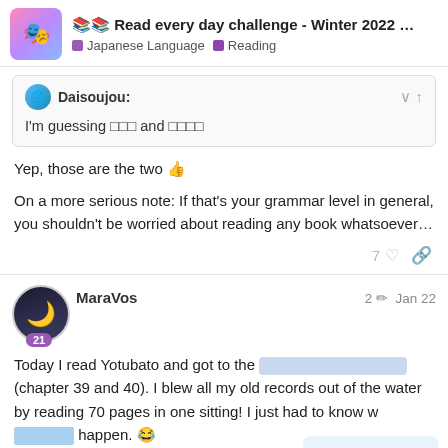📚📚 Read every day challenge - Winter 2022 ... | Japanese Language | Reading
Daisoujou: I'm guessing 〇〇〇 and 〇〇〇〇
Yep, those are the two 👍
On a more serious note: If that's your grammar level in general, you shouldn't be worried about reading any book whatsoever...
7 ♡ 🔗
MaraVos  2 ✏  Jan 22
Today I read Yotubato and got to the [blurred] (chapter 39 and 40). I blew all my old records out of the water by reading 70 pages in one sitting! I just had to know what was going to happen. 😂
847 / 1983